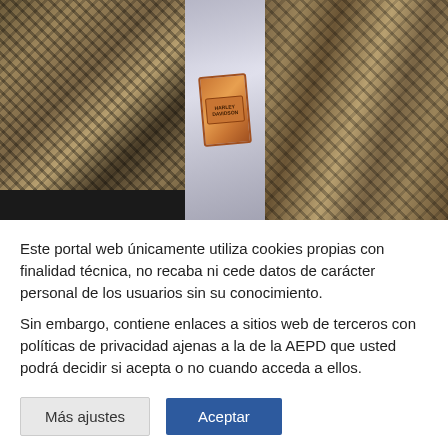[Figure (photo): Three-panel composite photo showing woven/textured fabric patterns in brown and tan diamond/checker patterns. The center panel shows a Harley-Davidson branded item in silver/metallic packaging with an orange and brown badge logo.]
Este portal web únicamente utiliza cookies propias con finalidad técnica, no recaba ni cede datos de carácter personal de los usuarios sin su conocimiento.
Sin embargo, contiene enlaces a sitios web de terceros con políticas de privacidad ajenas a la de la AEPD que usted podrá decidir si acepta o no cuando acceda a ellos.